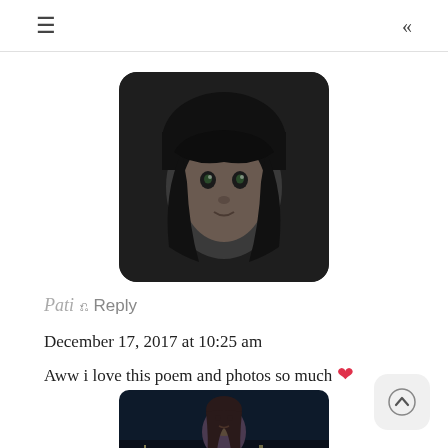≡  «
[Figure (photo): Black and white portrait photo of a young woman with bangs and dark hair, serious expression, in a rounded square avatar frame]
Pati ↩Reply
December 17, 2017 at 10:25 am
Aww i love this poem and photos so much ❤
[Figure (photo): Color photo of a young woman with long brown hair, smiling, dark background, wearing blue clothing]
[Figure (other): Scroll-to-top button, upward arrow icon in a rounded square gray button]